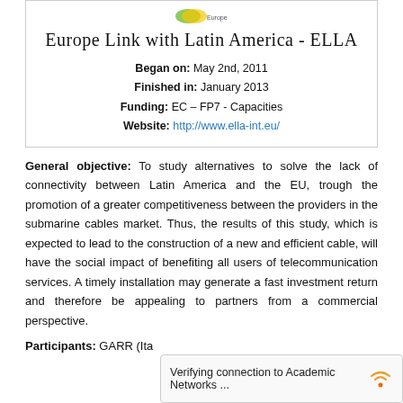[Figure (logo): ELLA project logo with green/yellow ellipse shape and small text 'Europe Link with Latin America']
Europe Link with Latin America - ELLA
Began on: May 2nd, 2011
Finished in: January 2013
Funding: EC – FP7 - Capacities
Website: http://www.ella-int.eu/
General objective: To study alternatives to solve the lack of connectivity between Latin America and the EU, trough the promotion of a greater competitiveness between the providers in the submarine cables market. Thus, the results of this study, which is expected to lead to the construction of a new and efficient cable, will have the social impact of benefiting all users of telecommunication services. A timely installation may generate a fast investment return and therefore be appealing to partners from a commercial perspective.
Participants: GARR (Ita...
Verifying connection to Academic Networks ...